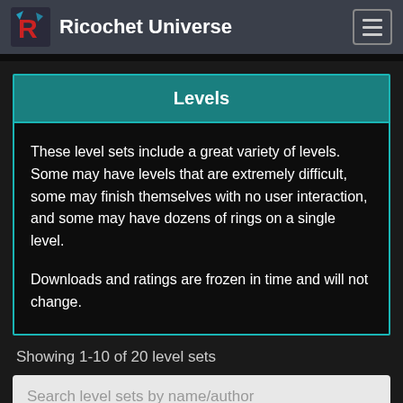Ricochet Universe
Levels
These level sets include a great variety of levels. Some may have levels that are extremely difficult, some may finish themselves with no user interaction, and some may have dozens of rings on a single level.

Downloads and ratings are frozen in time and will not change.
Showing 1-10 of 20 level sets
Search level sets by name/author